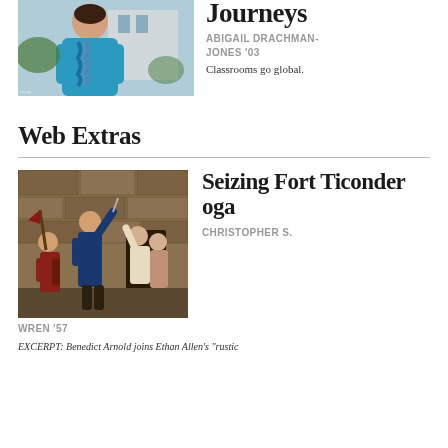[Figure (photo): Person wearing a teal/blue sweater and scarf outdoors]
Journeys
ABIGAIL DRACHMAN-JONES '03
Classrooms go global.
Web Extras
[Figure (photo): Historical painting of soldiers at Fort Ticonderoga, including Benedict Arnold and Ethan Allen]
Seizing Fort Ticonderoga
CHRISTOPHER S. WREN '57
EXCERPT: Benedict Arnold joins Ethan Allen's 'rustic...